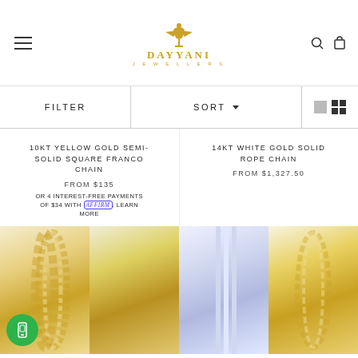DAYYANI JEWELLERS
FILTER
SORT
10KT YELLOW GOLD SEMI-SOLID SQUARE FRANCO CHAIN FROM $135 OR 4 INTEREST-FREE PAYMENTS OF $34 WITH Affirm. LEARN MORE
14KT WHITE GOLD SOLID ROPE CHAIN FROM $1,327.50
[Figure (photo): Bottom portion of jewelry chain products displayed in a two-column grid layout showing gold and white gold chains]